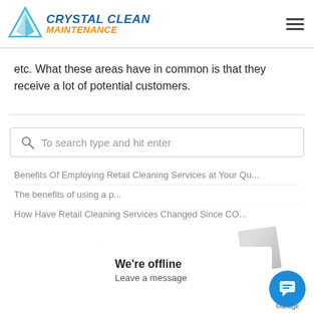[Figure (logo): Crystal Clean Maintenance logo with blue triangle graphic and company name]
etc. What these areas have in common is that they receive a lot of potential customers.
To search type and hit enter
Benefits Of Employing Retail Cleaning Services at Your Qu...
The benefits of using a p...
How Have Retail Cleaning Services Changed Since CO...
We're offline
Leave a message